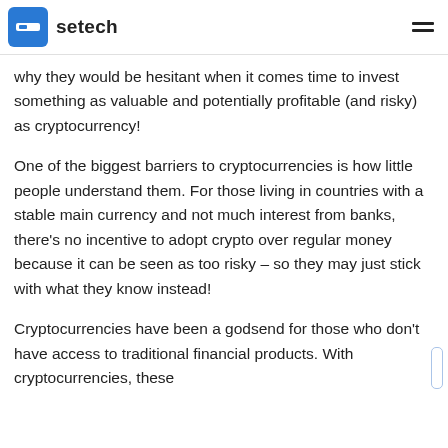setech
why they would be hesitant when it comes time to invest something as valuable and potentially profitable (and risky) as cryptocurrency!
One of the biggest barriers to cryptocurrencies is how little people understand them. For those living in countries with a stable main currency and not much interest from banks, there's no incentive to adopt crypto over regular money because it can be seen as too risky – so they may just stick with what they know instead!
Cryptocurrencies have been a godsend for those who don't have access to traditional financial products. With cryptocurrencies, these